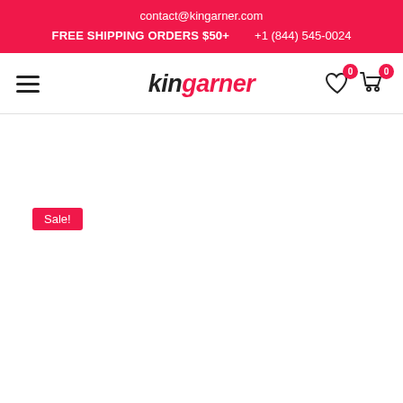contact@kingarner.com
FREE SHIPPING ORDERS $50+    +1 (844) 545-0024
[Figure (logo): KinGarner e-commerce website navigation bar with hamburger menu, KinGarner logo in bold italic text (KIN in black, GARNER in red), and heart/cart icons with 0 count badges]
Sale!